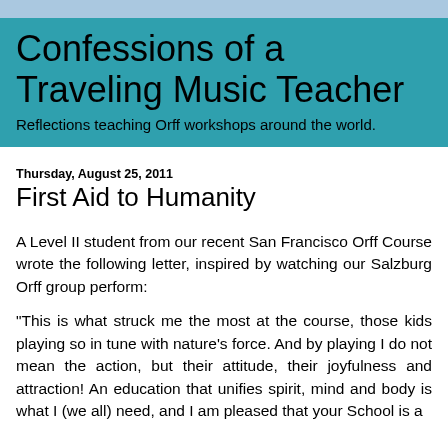Confessions of a Traveling Music Teacher
Reflections teaching Orff workshops around the world.
Thursday, August 25, 2011
First Aid to Humanity
A Level II student from our recent San Francisco Orff Course wrote the following letter, inspired by watching our Salzburg Orff group perform:
“This is what struck me the most at the course, those kids playing so in tune with nature’s force. And by playing I do not mean the action, but their attitude, their joyfulness and attraction! An education that unifies spirit, mind and body is what I (we all) need, and I am pleased that your School is a